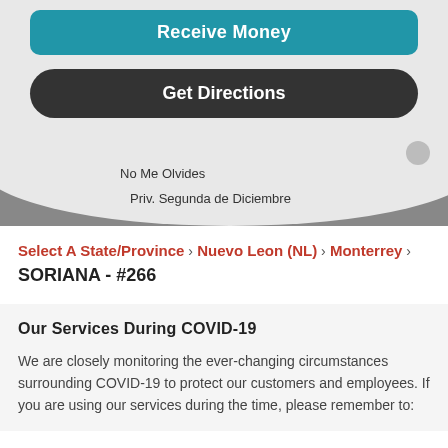[Figure (screenshot): Blue button labeled Receive Money]
[Figure (screenshot): Dark rounded button labeled Get Directions]
[Figure (map): Map background showing street labels: No Me Olvides and Priv. Segunda de Diciembre]
Select A State/Province > Nuevo Leon (NL) > Monterrey > SORIANA - #266
Our Services During COVID-19
We are closely monitoring the ever-changing circumstances surrounding COVID-19 to protect our customers and employees. If you are using our services during the time, please remember to: